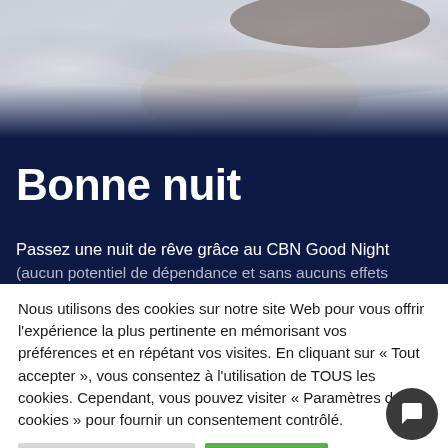[Figure (photo): Blurry photo of a person lying in bed with white bedding, viewed from above, soft natural light]
Bonne nuit
Passez une nuit de rêve grâce au CBN Good Night (aucun potentiel de dépendance et sans aucuns effets
Nous utilisons des cookies sur notre site Web pour vous offrir l'expérience la plus pertinente en mémorisant vos préférences et en répétant vos visites. En cliquant sur « Tout accepter », vous consentez à l'utilisation de TOUS les cookies. Cependant, vous pouvez visiter « Paramètres des cookies » pour fournir un consentement contrôlé.
Paramètres des cookies | Accepter tout